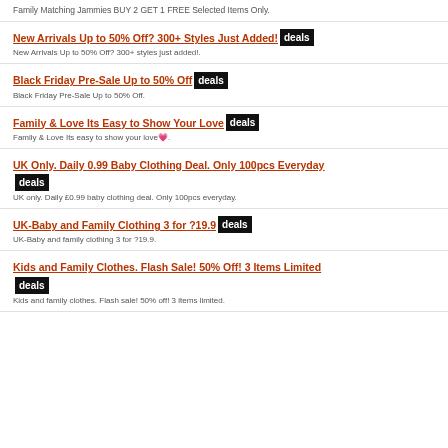Family Matching Jammies BUY 2 GET 1 FREE Selected Items Only.
New Arrivals Up to 50% Off? 300+ Styles Just Added! deals
New Arrivals Up to 50% Off? 300+ styles just added!.
Black Friday Pre-Sale Up to 50% Off deals
Black Friday Pre-Sale Up to 50% Off.
Family & Love Its Easy to Show Your Love deals
Family & Love Its easy to show your love💗.
UK Only. Daily 0.99 Baby Clothing Deal. Only 100pcs Everyday deals
UK only. Daily £0.99 baby clothing deal. Only 100pcs everyday.
UK-Baby and Family Clothing 3 for ?19.9 deals
UK-Baby and family clothing 3 for ?19.9.
Kids and Family Clothes. Flash Sale! 50% Off! 3 Items Limited deals
Kids and family clothes. Flash sale! 50% off! 3 items limited.